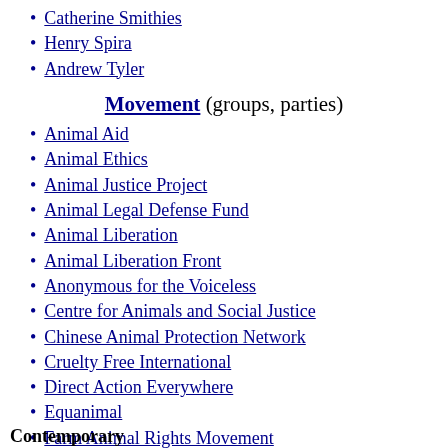Catherine Smithies
Henry Spira
Andrew Tyler
Movement (groups, parties)
Animal Aid
Animal Ethics
Animal Justice Project
Animal Legal Defense Fund
Animal Liberation
Animal Liberation Front
Anonymous for the Voiceless
Centre for Animals and Social Justice
Chinese Animal Protection Network
Cruelty Free International
Direct Action Everywhere
Equanimal
Farm Animal Rights Movement
Faunalytics
Great Ape Project
Hunt Saboteurs Association
In Defense of Animals
Contemporary
Korea Animal Rights Advocates